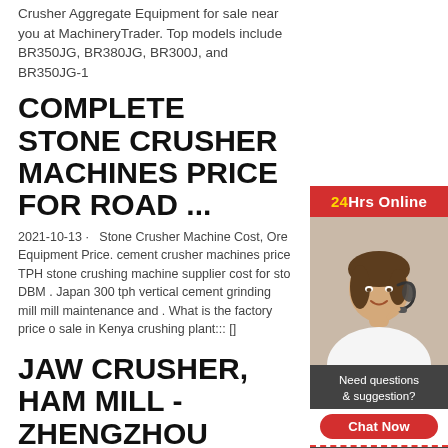Crusher Aggregate Equipment for sale near you at MachineryTrader. Top models include BR350JG, BR380JG, BR300J, and BR350JG-1
COMPLETE STONE CRUSHER MACHINES PRICE FOR ROAD ...
2021-10-13 · Stone Crusher Machine Cost, Ore Equipment Price. cement crusher machines price TPH stone crushing machine supplier cost for stone DBM . Japan 300 tph vertical cement grinding mill mill maintenance and . What is the factory price of sale in Kenya crushing plant::: []
[Figure (infographic): Customer service widget with red header '24Hrs Online', photo of a woman with headset smiling, dark grey box 'Need questions & suggestion?', red rounded button 'Chat Now', dashed separator, 'Enquiry' section, dashed separator, 'limingjlmofen' in red section.]
JAW CRUSHER, HAMMER MILL - ZHENGZHOU HUAHONG